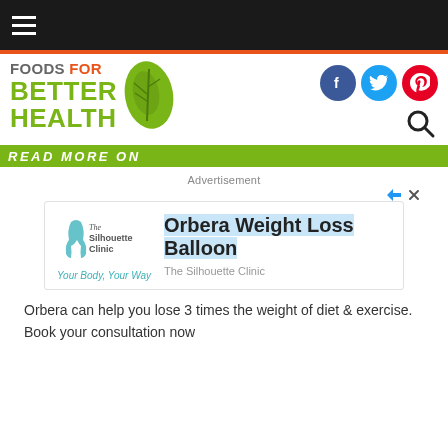Foods For Better Health
READ MORE ON
Advertisement
[Figure (other): Advertisement for Orbera Weight Loss Balloon by The Silhouette Clinic. Shows clinic logo, tagline 'Your Body, Your Way', and ad title 'Orbera Weight Loss Balloon' with subtitle 'The Silhouette Clinic'.]
Orbera can help you lose 3 times the weight of diet & exercise. Book your consultation now